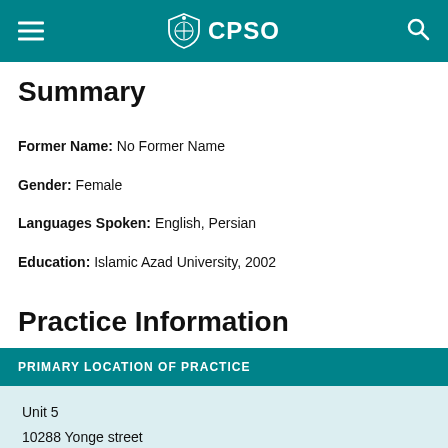CPSO
Summary
Former Name: No Former Name
Gender: Female
Languages Spoken: English, Persian
Education: Islamic Azad University, 2002
Practice Information
| PRIMARY LOCATION OF PRACTICE |
| --- |
| Unit 5 |
| 10288 Yonge street |
| Richmond Hill ON  L4C 3B8 |
Unit 5
10288 Yonge street
Richmond Hill ON  L4C 3B8